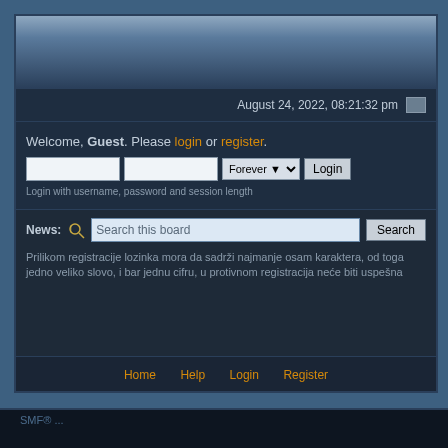[Figure (screenshot): Forum website header gradient banner, dark blue tones]
August 24, 2022, 08:21:32 pm
Welcome, Guest. Please login or register.
Login with username, password and session length
News: Prilikom registracije lozinka mora da sadrži najmanje osam karaktera, od toga jedno veliko slovo, i bar jednu cifru, u protivnom registracija neće biti uspešna
Search this board
Home  Help  Login  Register